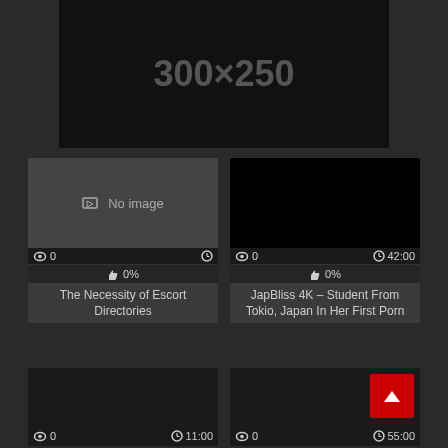[Figure (screenshot): Ad banner placeholder showing '300x250' text on black background]
[Figure (screenshot): Video thumbnail showing 'No image' placeholder with eye icon showing 0 views and clock icon]
0%
The Necessity of Escort Directories
[Figure (screenshot): Video thumbnail black with eye icon 0 views and 42:00 duration]
0%
JapBliss 4K – Student From Tokio, Japan In Her First Porn
[Figure (screenshot): Video thumbnail black with 0 views and 11:00 duration]
[Figure (screenshot): Video thumbnail black with red scroll-to-top button, 0 views and 55:00 duration]